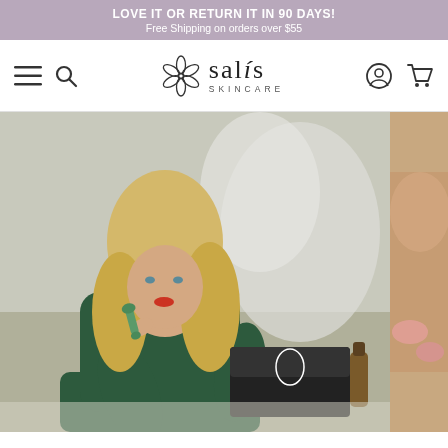LOVE IT OR RETURN IT IN 90 DAYS! Free Shipping on orders over $55
[Figure (logo): Salis Skincare logo with flower icon, navigation icons for menu, search, account, and cart]
[Figure (photo): Blonde woman in dark green dress using a jade facial roller near her cheek, with a black skincare gift box and serum bottle in background. Partial photo of another person on right edge.]